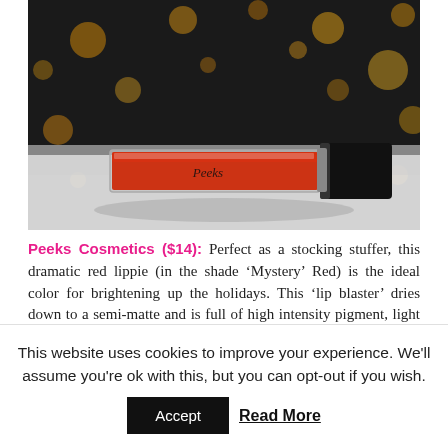[Figure (photo): A red lip gloss / liquid lipstick product (Peeks Cosmetics) lying on a white surface against a dark background with golden bokeh lights. The tube has a black cap and a clear body filled with red product, with the brand name written on it in script.]
Peeks Cosmetics ($14): Perfect as a stocking stuffer, this dramatic red lippie (in the shade 'Mystery' Red) is the ideal color for brightening up the holidays. This 'lip blaster' dries down to a semi-matte and is full of high intensity pigment, light weight, long lasting, vibrant that
This website uses cookies to improve your experience. We'll assume you're ok with this, but you can opt-out if you wish.
Accept   Read More